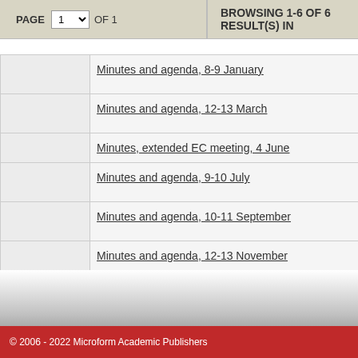PAGE 1 OF 1 | BROWSING 1-6 OF 6 RESULT(S) IN
|  | Title | Reference |
| --- | --- | --- |
|  | Minutes and agenda, 8-9 January | CP/CENT/E... ops and dra... |
|  | Minutes and agenda, 12-13 March | CP/CENT/E... CPGB comm... |
|  | Minutes, extended EC meeting, 4 June | CP/CENT/E... |
|  | Minutes and agenda, 9-10 July | CP/CENT/E... aged'. |
|  | Minutes and agenda, 10-11 September | CP/CENT/E... education pr... |
|  | Minutes and agenda, 12-13 November | CP/CENT/E... |
© 2006 - 2022 Microform Academic Publishers